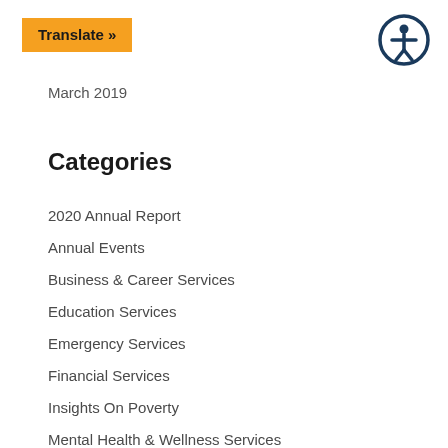Translate »
March 2019
Categories
2020 Annual Report
Annual Events
Business & Career Services
Education Services
Emergency Services
Financial Services
Insights On Poverty
Mental Health & Wellness Services
Message from the CEO
News Releases
Nutrition Services